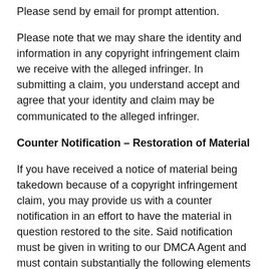Please send by email for prompt attention.
Please note that we may share the identity and information in any copyright infringement claim we receive with the alleged infringer. In submitting a claim, you understand accept and agree that your identity and claim may be communicated to the alleged infringer.
Counter Notification – Restoration of Material
If you have received a notice of material being takedown because of a copyright infringement claim, you may provide us with a counter notification in an effort to have the material in question restored to the site. Said notification must be given in writing to our DMCA Agent and must contain substantially the following elements pursuant to 17 USC Section 512(g)(2):